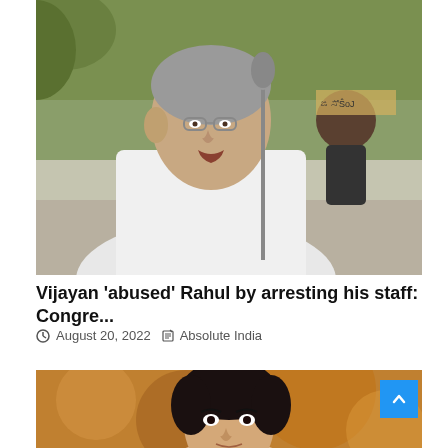[Figure (photo): An elderly man in white shirt speaking at a microphone outdoors, with greenery in background.]
Vijayan 'abused' Rahul by arresting his staff: Congre...
August 20, 2022  Absolute India
[Figure (photo): A young man with dark hair against a warm background.]